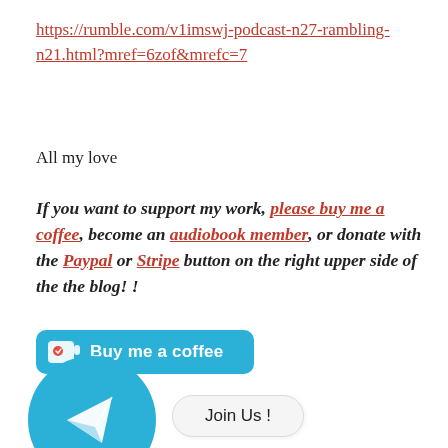https://rumble.com/v1imswj-podcast-n27-rambling-n21.html?mref=6zof&mrefc=7
All my love
If you want to support my work, please buy me a coffee, become an audiobook member, or donate with the Paypal or Stripe button on the right upper side of the the blog! !
[Figure (illustration): Buy me a coffee button (teal/cyan rounded rectangle with coffee cup icon and text 'Buy me a coffee')]
[Figure (illustration): Telegram circle button (blue circle with paper plane icon) and 'Join Us !' rounded button beside it]